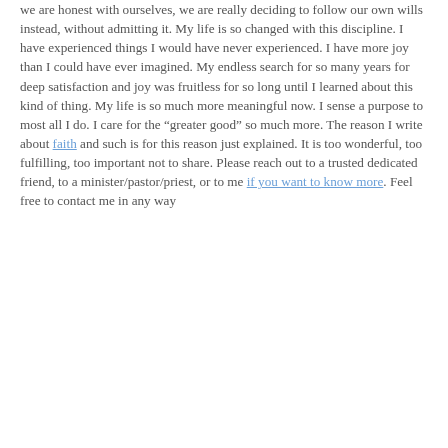we are honest with ourselves, we are really deciding to follow our own wills instead, without admitting it. My life is so changed with this discipline. I have experienced things I would have never experienced. I have more joy than I could have ever imagined. My endless search for so many years for deep satisfaction and joy was fruitless for so long until I learned about this kind of thing. My life is so much more meaningful now. I sense a purpose to most all I do. I care for the "greater good" so much more. The reason I write about faith and such is for this reason just explained. It is too wonderful, too fulfilling, too important not to share. Please reach out to a trusted dedicated friend, to a minister/pastor/priest, or to me if you want to know more. Feel free to contact me in any way